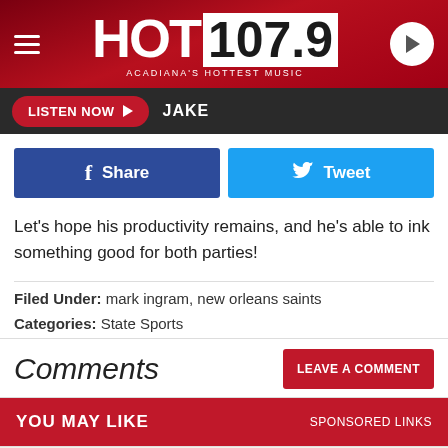[Figure (logo): HOT 107.9 Acadiana's Hottest Music radio station logo with hamburger menu and play button]
LISTEN NOW  JAKE
[Figure (infographic): Facebook Share button and Twitter Tweet button]
Let's hope his productivity remains, and he's able to ink something good for both parties!
Filed Under: mark ingram, new orleans saints
Categories: State Sports
Comments
LEAVE A COMMENT
YOU MAY LIKE   SPONSORED LINKS